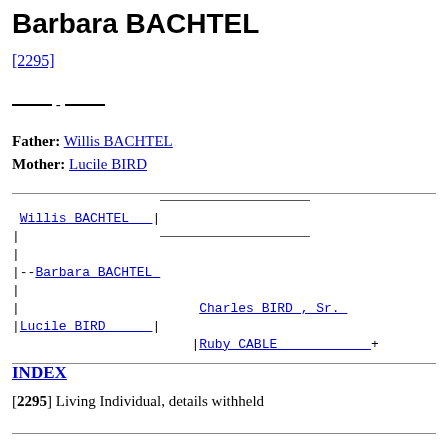Barbara BACHTEL
[2295]
_____ - _____
Father: Willis BACHTEL
Mother: Lucile BIRD
[Figure (other): Genealogy tree diagram showing Willis BACHTEL and Lucile BIRD as parents of Barbara BACHTEL, with Charles BIRD, Sr. and Ruby CABLE as grandparents.]
INDEX
[2295] Living Individual, details withheld